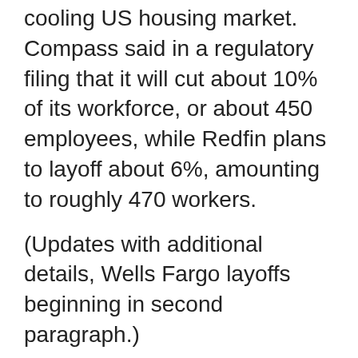cooling US housing market. Compass said in a regulatory filing that it will cut about 10% of its workforce, or about 450 employees, while Redfin plans to layoff about 6%, amounting to roughly 470 workers.
(Updates with additional details, Wells Fargo layoffs beginning in second paragraph.)
Most Read from Bloomberg Businessweek
©2022 Bloomberg L.P.
World
'The Song We All Need'
James Marsh Gears Up To Direct New Hybrid Animated Documentary, Tentatively